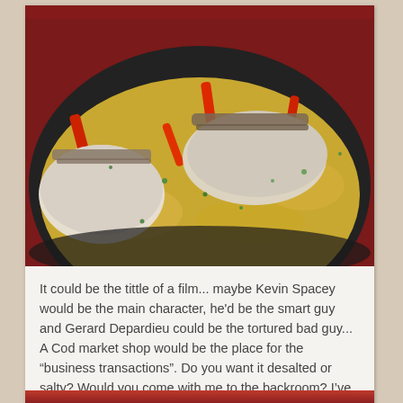[Figure (photo): Close-up photo of a dark cooking pot or pan containing fish fillets (likely cod) with red bell pepper strips, potatoes, and green herbs in a yellowish broth/sauce.]
It could be the tittle of a film... maybe Kevin Spacey would be the main character, he'd be the smart guy and Gerard Depardieu could be the tortured bad guy... A Cod market shop would be the place for the “business transactions”. Do you want it desalted or salty? Would you come with me to the backroom? I’ve got some good stuff for you ;D